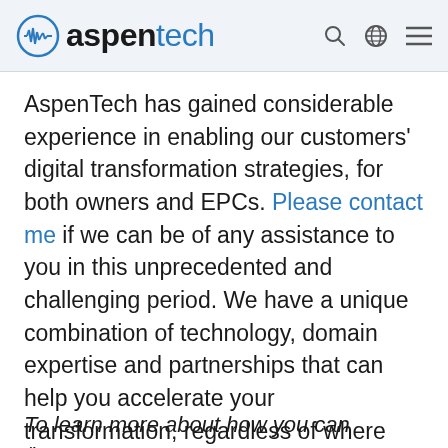[Figure (logo): AspenTech logo with circular waveform icon and brand name in header navigation bar]
AspenTech has gained considerable experience in enabling our customers' digital transformation strategies, for both owners and EPCs. Please contact me if we can be of any assistance to you in this unprecedented and challenging period. We have a unique combination of technology, domain expertise and partnerships that can help you accelerate your transformation, regardless of where you are on your journey.
To learn more about how you can /leverage...